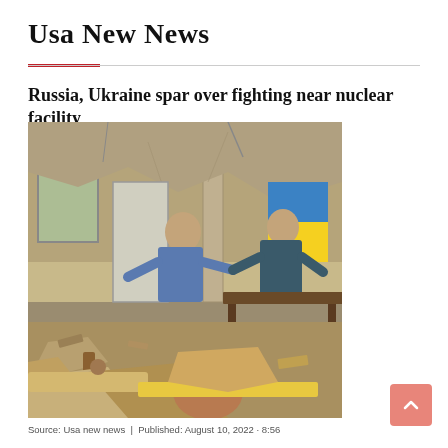Usa New News
Russia, Ukraine spar over fighting near nuclear facility
[Figure (photo): Two men standing amid rubble and debris inside a badly damaged building, with destroyed furniture and wreckage covering the floor.]
Source: Usa new news | Published: August 10, 2022 · 8:56